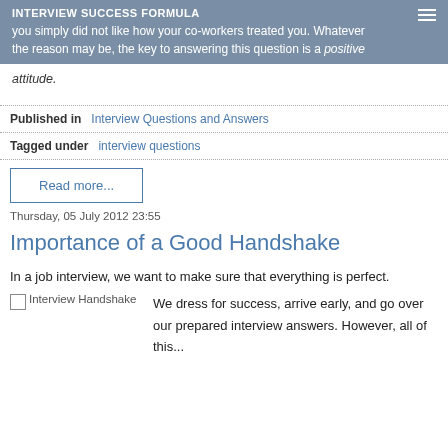INTERVIEW SUCCESS FORMULA
you simply did not like how your co-workers treated you. Whatever the reason may be, the key to answering this question is a positive attitude.
Published in  Interview Questions and Answers
Tagged under  interview questions
Read more...
Thursday, 05 July 2012 23:55
Importance of a Good Handshake
In a job interview, we want to make sure that everything is perfect.
[Figure (photo): Interview Handshake image placeholder]
We dress for success, arrive early, and go over our prepared interview answers. However, all of this...